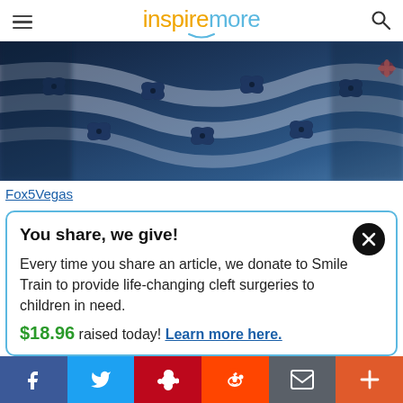inspiremore
[Figure (photo): Close-up photo of blue and white patterned fabric with butterfly/floral motifs, blurred foreground and background]
Fox5Vegas
You share, we give!
Every time you share an article, we donate to Smile Train to provide life-changing cleft surgeries to children in need.
$18.96 raised today! Learn more here.
Social share bar: Facebook, Twitter, Pinterest, Reddit, Email, More